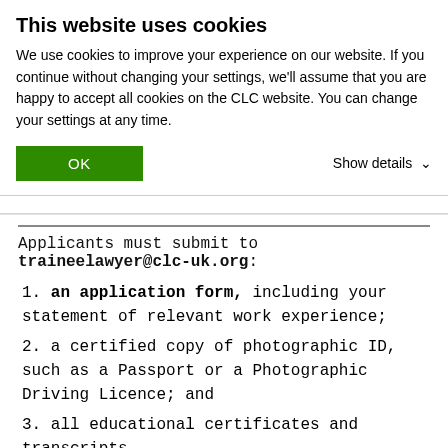This website uses cookies
We use cookies to improve your experience on our website. If you continue without changing your settings, we'll assume that you are happy to accept all cookies on the CLC website. You can change your settings at any time.
OK
Show details
Applicants must submit to traineelawyer@clc-uk.org:
1. an application form, including your statement of relevant work experience;
2. a certified copy of photographic ID, such as a Passport or a Photographic Driving Licence; and
3. all educational certificates and transcripts.
View the FAQ's on becoming a CLC Technician
Work Experience